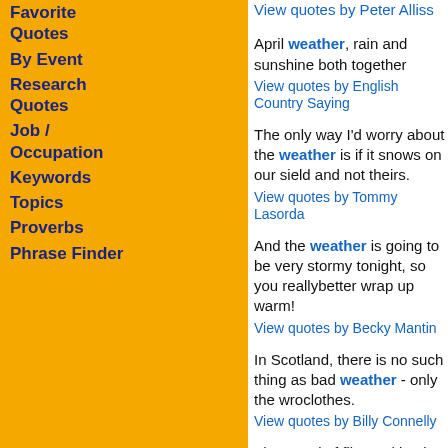Favorite Quotes
By Event
Research Quotes
Job / Occupation
Keywords
Topics
Proverbs
Phrase Finder
View quotes by Peter Alliss
April weather, rain and sunshine both together
View quotes by English Country Saying
The only way I'd worry about the weather is if it snows on our side field and not theirs.
View quotes by Tommy Lasorda
And the weather is going to be very stormy tonight, so you really better wrap up warm!
View quotes by Becky Mantin
In Scotland, there is no such thing as bad weather - only the wrong clothes.
View quotes by Billy Connelly
The moral of film-making in Britain is that you will be f***ed by the weather.
View quotes by Hugh Grant
Football is violence and cold weather and sex and college rye.
View quotes by Roger Kahn
You know what they say about Chicago. If you don't like the weather...